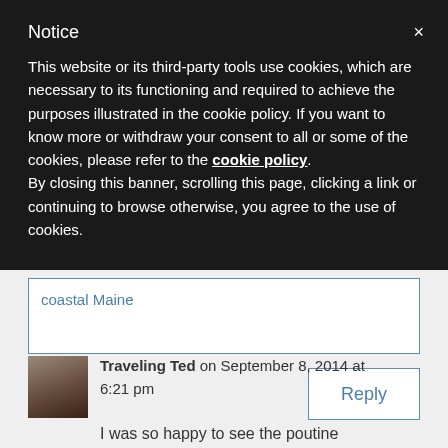Notice
This website or its third-party tools use cookies, which are necessary to its functioning and required to achieve the purposes illustrated in the cookie policy. If you want to know more or withdraw your consent to all or some of the cookies, please refer to the cookie policy.
By closing this banner, scrolling this page, clicking a link or continuing to browse otherwise, you agree to the use of cookies.
coastal Maine
Reply
Traveling Ted on September 8, 2014 at 6:21 pm
I was so happy to see the poutine